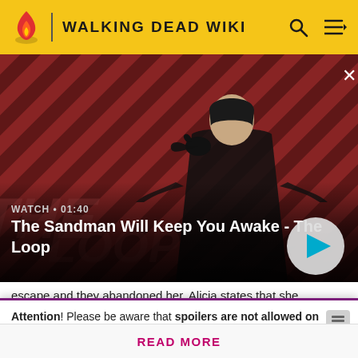WALKING DEAD WIKI
[Figure (screenshot): Video promo banner for 'The Sandman Will Keep You Awake - The Loop' showing a man in black with a raven on his shoulder against a red diagonal stripe background. Includes a play button and WATCH • 01:40 label.]
escape and they abandoned her. Alicia states that she
Attention! Please be aware that spoilers are not allowed on the wiki and a violation of this policy may result in a ban.
READ MORE